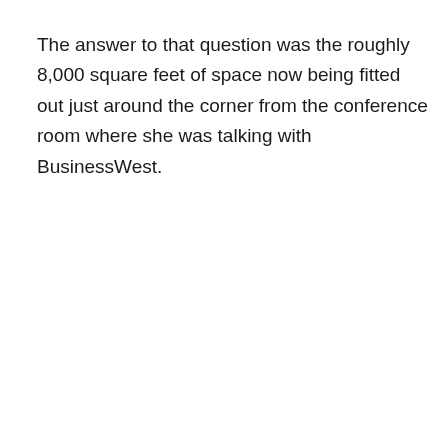The answer to that question was the roughly 8,000 square feet of space now being fitted out just around the corner from the conference room where she was talking with BusinessWest.